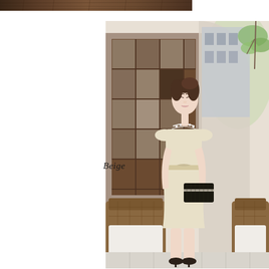[Figure (photo): Top banner strip showing a partial view of a dark brown wooden lattice/furniture in warm tones]
[Figure (photo): A young Asian woman wearing a beige/cream cap-sleeve fit-and-flare dress with pearl necklace and ribbon waist tie, holding a black clutch bag, standing outdoors near wicker furniture with a building and greenery in the background]
Beige